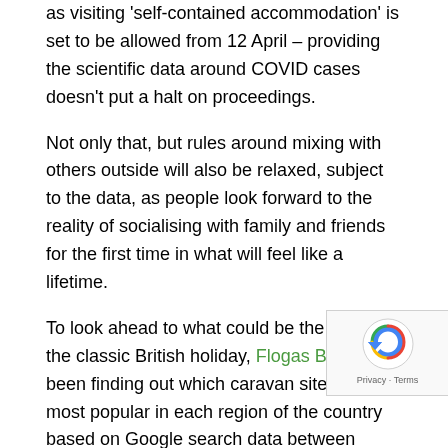as visiting 'self-contained accommodation' is set to be allowed from 12 April – providing the scientific data around COVID cases doesn't put a halt on proceedings.
Not only that, but rules around mixing with others outside will also be relaxed, subject to the data, as people look forward to the reality of socialising with family and friends for the first time in what will feel like a lifetime.
To look ahead to what could be the return of the classic British holiday, Flogas Britain has been finding out which caravan sites are the most popular in each region of the country based on Google search data between January 2019 and January 2021.
The most searched for caravan sites
We'll start with the most searched for caravan site in the